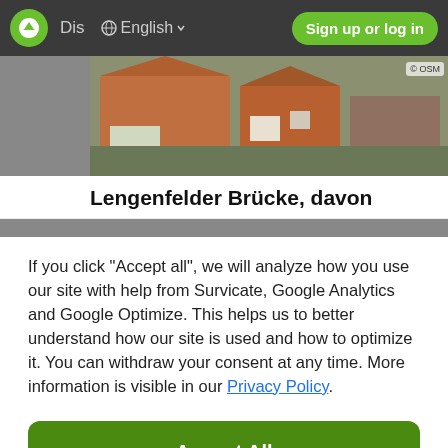Dis  English  Sign up or log in
[Figure (photo): Aerial photo of buildings with red rooftops, partially visible behind a cookie consent dialog]
Lengenfelder Brücke, davon
If you click "Accept all", we will analyze how you use our site with help from Survicate, Google Analytics and Google Optimize. This helps us to better understand how our site is used and how to optimize it. You can withdraw your consent at any time. More information is visible in our Privacy Policy.
Accept All
Decline
Details